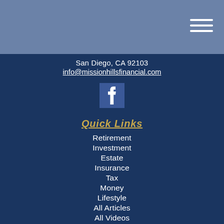[Figure (other): Navigation hamburger menu icon (three horizontal white lines) in the top-right of a steel-blue header bar]
San Diego, CA 92103
info@missionhillsfinancial.com
[Figure (logo): Facebook icon — white 'f' on dark blue square background]
Quick Links
Retirement
Investment
Estate
Insurance
Tax
Money
Lifestyle
All Articles
All Videos
All Calculators
All Presentations
Check the background of your financial professional on FINRA's BrokerCheck.
The content is developed from sources believed to be providing accurate information.